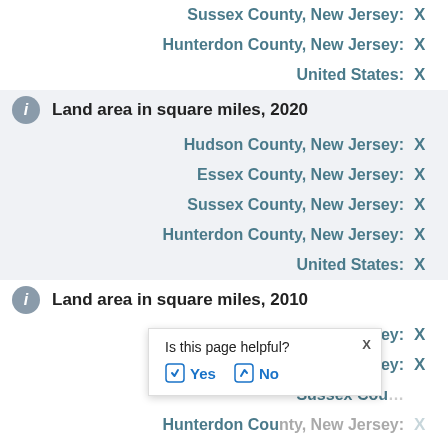Sussex County, New Jersey: X
Hunterdon County, New Jersey: X
United States: X
Land area in square miles, 2020
Hudson County, New Jersey: X
Essex County, New Jersey: X
Sussex County, New Jersey: X
Hunterdon County, New Jersey: X
United States: X
Land area in square miles, 2010
Hudson County, New Jersey: X
Essex County, New Jersey: X
Sussex County, New Jersey: X
Hunterdon County, New Jersey: X
Is this page helpful? Yes No